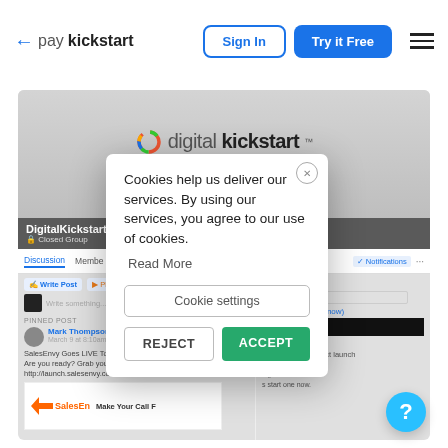paykickstart — Sign In | Try it Free
[Figure (screenshot): Screenshot of digitalkickstart Facebook group page with a cookie consent modal overlay. The background shows the DigitalKickstart JVs Facebook group with a banner reading 'digitalkickstart – Helping Marketers and Internet Entrepreneurs Generate Traffic, Leads & Customers!'. A cookie consent popup in the foreground reads: 'Cookies help us deliver our services. By using our services, you agree to our use of cookies. Read More' with buttons for 'Cookie settings', 'REJECT', and 'ACCEPT'.]
Cookies help us deliver our services. By using our services, you agree to our use of cookies.
Read More
Cookie settings
REJECT
ACCEPT